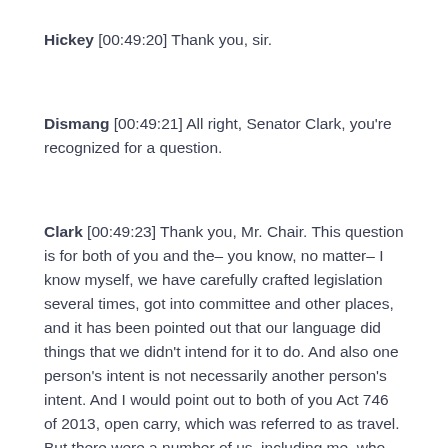Hickey [00:49:20] Thank you, sir.
Dismang [00:49:21] All right, Senator Clark, you're recognized for a question.
Clark [00:49:23] Thank you, Mr. Chair. This question is for both of you and the– you know, no matter– I know myself, we have carefully crafted legislation several times, got into committee and other places, and it has been pointed out that our language did things that we didn't intend for it to do. And also one person's intent is not necessarily another person's intent. And I would point out to both of you Act 746 of 2013, open carry, which was referred to as travel. But there were a number of us, including me, who knew exactly what the bill did. And then there was a